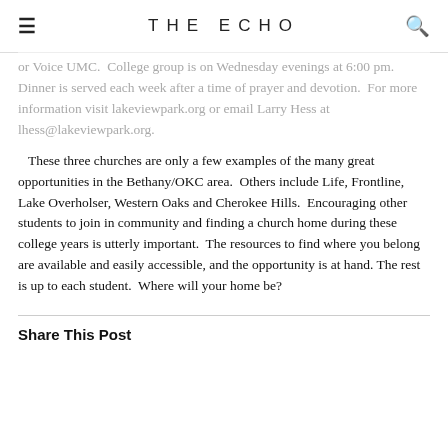THE ECHO
or Voice UMC.  College group is on Wednesday evenings at 6:00 pm.  Dinner is served each week after a time of prayer and devotion.  For more information visit lakeviewpark.org or email Larry Hess at lhess@lakeviewpark.org.
These three churches are only a few examples of the many great opportunities in the Bethany/OKC area.  Others include Life, Frontline, Lake Overholser, Western Oaks and Cherokee Hills.  Encouraging other students to join in community and finding a church home during these college years is utterly important.  The resources to find where you belong are available and easily accessible, and the opportunity is at hand. The rest is up to each student.  Where will your home be?
Share This Post